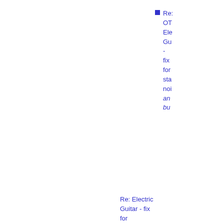Re: OT Electric Guitar - fix for static noise and buzz built
Re: Electric Guitar - fix for